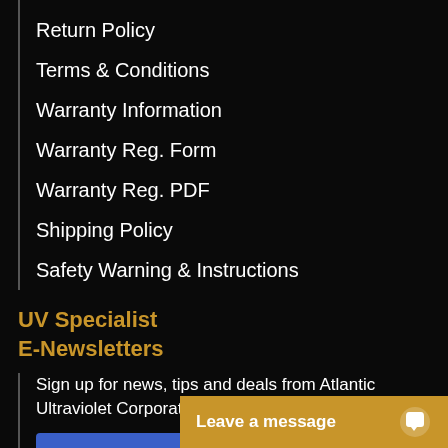Return Policy
Terms & Conditions
Warranty Information
Warranty Reg. Form
Warranty Reg. PDF
Shipping Policy
Safety Warning & Instructions
UV Specialist
E-Newsletters
Sign up for news, tips and deals from Atlantic Ultraviolet Corporation
Join Our Email List
🇺🇸  Made in the USA
Leave a message